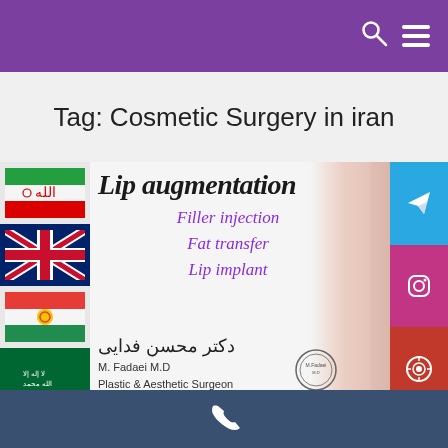Tag: Cosmetic Surgery in iran
[Figure (screenshot): Medical website page with purple navigation bar, tag heading 'Cosmetic Surgery in iran', a promotional card for lip augmentation services (Filler injection, Fat transfer, Lip implant) by Dr. M. Fadaei M.D Plastic & Aesthetic Surgeon, with country flag strip on left and social media icons on right, and a phone call bar at the bottom.]